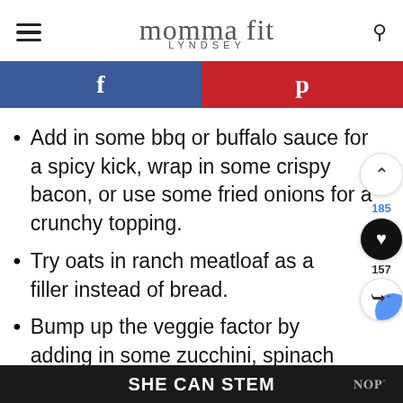[Figure (logo): Momma Fit Lyndsey logo with hamburger menu icon on left and search icon on right]
[Figure (infographic): Social share bar with Facebook (blue) and Pinterest (red) buttons]
Add in some bbq or buffalo sauce for a spicy kick, wrap in some crispy bacon, or use some fried onions for a crunchy topping.
Try oats in ranch meatloaf as a filler instead of bread.
Bump up the veggie factor by adding in some zucchini, spinach
SHE CAN STEM